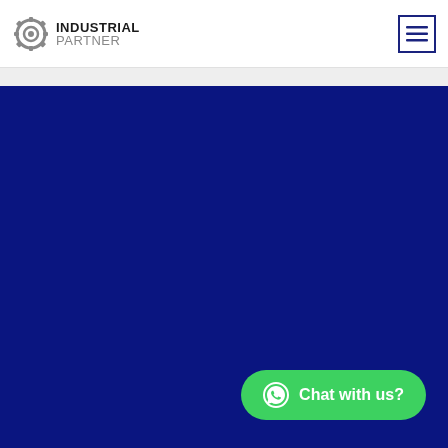INDUSTRIAL PARTNER
[Figure (logo): Industrial Partner logo with gear icon and text INDUSTRIAL PARTNER]
[Figure (other): Hamburger menu button with three horizontal lines, dark blue border]
[Figure (other): Large dark navy/blue background area filling most of the page]
Chat with us?